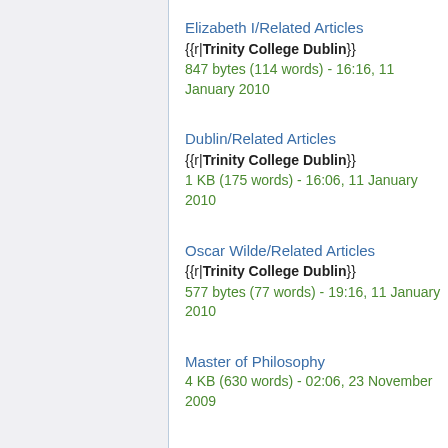Elizabeth I/Related Articles
{{r|Trinity College Dublin}}
847 bytes (114 words) - 16:16, 11 January 2010
Dublin/Related Articles
{{r|Trinity College Dublin}}
1 KB (175 words) - 16:06, 11 January 2010
Oscar Wilde/Related Articles
{{r|Trinity College Dublin}}
577 bytes (77 words) - 19:16, 11 January 2010
Master of Philosophy
4 KB (630 words) - 02:06, 23 November 2009